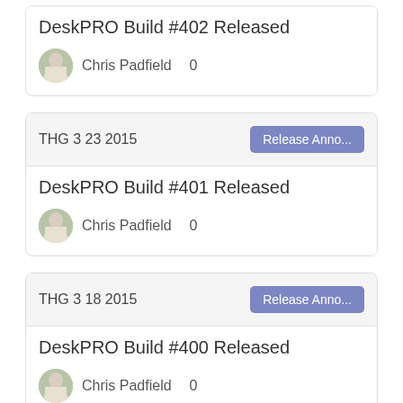DeskPRO Build #402 Released
Chris Padfield   0
THG 3 23 2015
Release Anno...
DeskPRO Build #401 Released
Chris Padfield   0
THG 3 18 2015
Release Anno...
DeskPRO Build #400 Released
Chris Padfield   0
THG 3 13 2015
Release Anno...